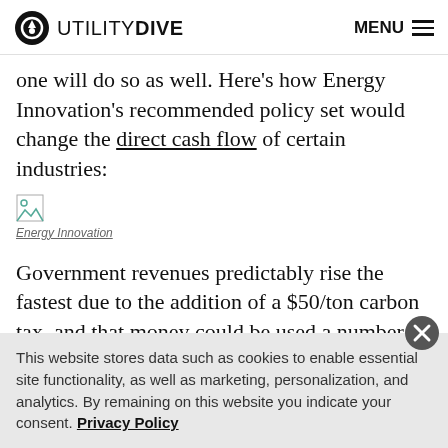UTILITY DIVE  MENU
one will do so as well. Here's how Energy Innovation's recommended policy set would change the direct cash flow of certain industries:
[Figure (other): Broken image placeholder icon]
Energy Innovation
Government revenues predictably rise the fastest due to the addition of a $50/ton carbon tax, and that money could be used a number of ways, including returning it to
This website stores data such as cookies to enable essential site functionality, as well as marketing, personalization, and analytics. By remaining on this website you indicate your consent. Privacy Policy